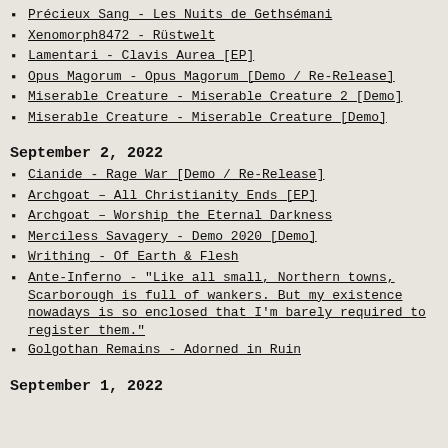Précieux Sang - Les Nuits de Gethsémani
Xenomorph8472 - Rüstwelt
Lamentari - Clavis Aurea [EP]
Opus Magorum - Opus Magorum [Demo / Re-Release]
Miserable Creature - Miserable Creature 2 [Demo]
Miserable Creature - Miserable Creature [Demo]
September 2, 2022
Cianide - Rage War [Demo / Re-Release]
Archgoat – All Christianity Ends [EP]
Archgoat – Worship the Eternal Darkness
Merciless Savagery - Demo 2020 [Demo]
Writhing - Of Earth & Flesh
Ante-Inferno - "Like all small, Northern towns, Scarborough is full of wankers. But my existence nowadays is so enclosed that I'm barely required to register them."
Golgothan Remains - Adorned in Ruin
September 1, 2022